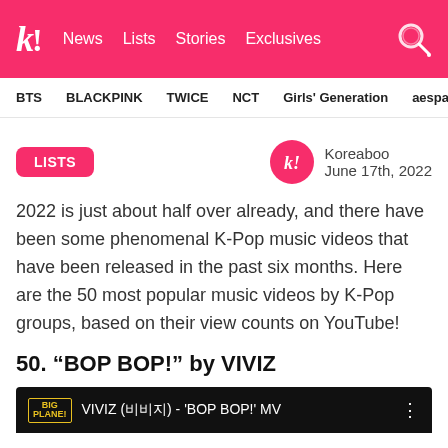k! News Lists Stories Exclusives
BTS BLACKPINK TWICE NCT Girls' Generation aespa
LISTS
Koreaboo
June 17th, 2022
2022 is just about half over already, and there have been some phenomenal K-Pop music videos that have been released in the past six months. Here are the 50 most popular music videos by K-Pop groups, based on their view counts on YouTube!
50. “BOP BOP!” by VIVIZ
[Figure (screenshot): Video thumbnail showing VIVIZ BOP BOP MV with Big Planet logo]